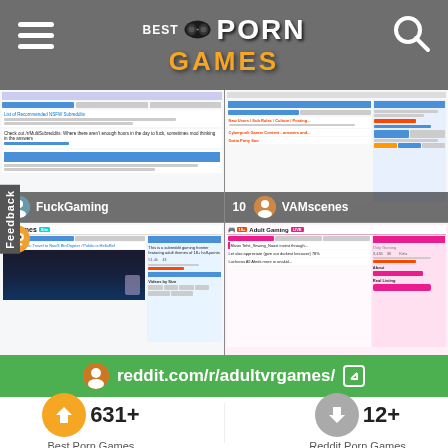Best Porn Games
[Figure (screenshot): Screenshot grid of 4 Reddit community pages: FuckGaming, VAMscenes, iri_Games, Adult Gaming]
FuckGaming
10   VAMscenes
iri_Games
Adult Gaming
Feedback
reddit.com/r/adultvrgames/
631+
Best Porn Games
12+
Reddit Porn Games